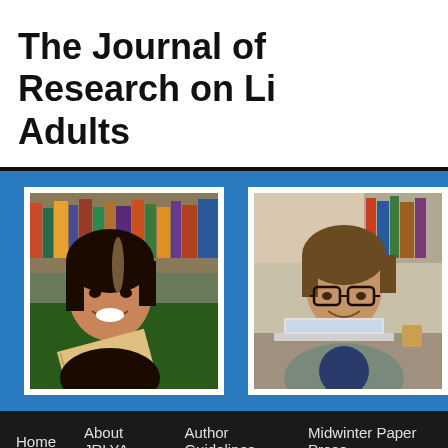The Journal of Research on Libraries and Young Adults
[Figure (photo): Banner with blue background containing two photos: a smiling young woman with a book in a library, and a young man with glasses using a laptop in a library]
Home   About JRLYA   Author Guidelines   Midwinter Paper Prese...
Category Archives: Eliza T. Dresang Memorial Issue